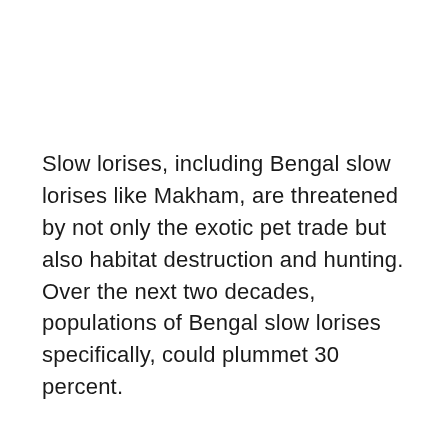Slow lorises, including Bengal slow lorises like Makham, are threatened by not only the exotic pet trade but also habitat destruction and hunting. Over the next two decades, populations of Bengal slow lorises specifically, could plummet 30 percent.